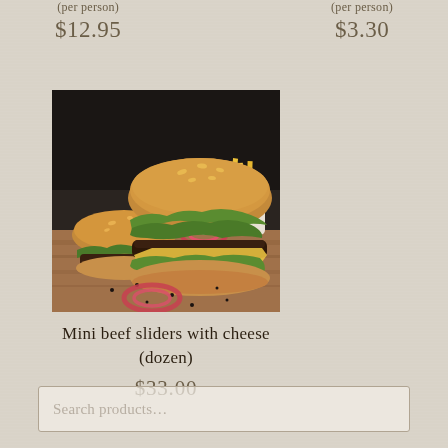(per person)
$12.95
(per person)
$3.30
[Figure (photo): Photo of mini beef sliders with cheese and french fries on a wooden surface]
Mini beef sliders with cheese (dozen)
$33.00
Search products...